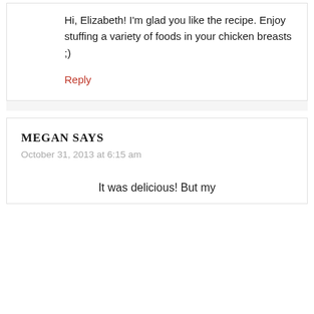Hi, Elizabeth! I'm glad you like the recipe. Enjoy stuffing a variety of foods in your chicken breasts ;)
Reply
MEGAN SAYS
October 31, 2013 at 6:15 am
It was delicious! But my